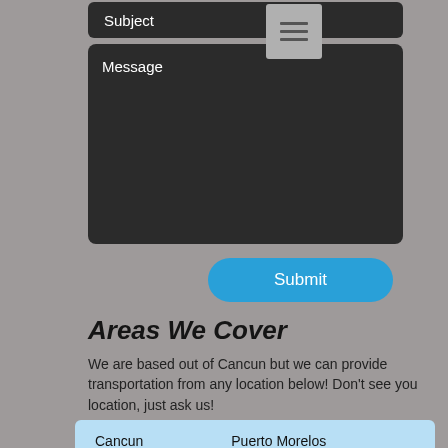Subject
[Figure (screenshot): Hamburger menu icon button with three horizontal lines on gray background]
Message
Submit
Areas We Cover
We are based out of Cancun but we can provide transportation from any location below! Don't see you location, just ask us!
| Cancun | Puerto Morelos |
| Isla Mujeres | Playa Del Carmen |